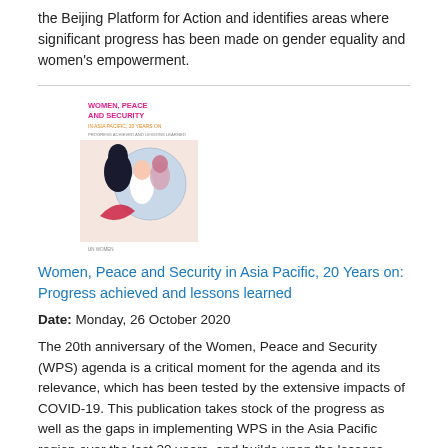the Beijing Platform for Action and identifies areas where significant progress has been made on gender equality and women's empowerment.
[Figure (illustration): Book cover of 'Women, Peace and Security in Asia Pacific, 20 Years on' publication, showing illustrated figures in pink/red tones with a circular design]
Women, Peace and Security in Asia Pacific, 20 Years on: Progress achieved and lessons learned
Date: Monday, 26 October 2020
The 20th anniversary of the Women, Peace and Security (WPS) agenda is a critical moment for the agenda and its relevance, which has been tested by the extensive impacts of COVID-19. This publication takes stock of the progress as well as the gaps in implementing WPS in the Asia Pacific region over the last 20 years, and builds upon the lessons learned to move the WPS agenda forward in the years to come.